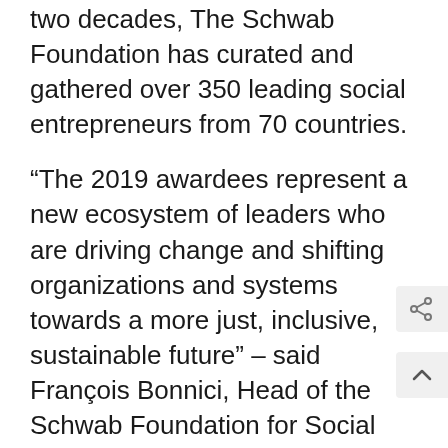two decades, The Schwab Foundation has curated and gathered over 350 leading social entrepreneurs from 70 countries.
“The 2019 awardees represent a new ecosystem of leaders who are driving change and shifting organizations and systems towards a more just, inclusive, sustainable future” – said François Bonnici, Head of the Schwab Foundation for Social Entrepreneurship.
The enterprise operates globally with the potential to bring clean-energy and sustaina agricultural practices to 2 billion farmers.
“Farmers are net consumers of energy, but they could actually be producers of clean energy for